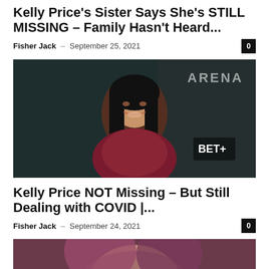Kelly Price's Sister Says She's STILL MISSING – Family Hasn't Heard...
Fisher Jack – September 25, 2021
[Figure (photo): Photo of Kelly Price smiling at an event, wearing a dark red/burgundy outfit, with long straight black hair, in front of a dark background with 'ARENA' text visible]
Kelly Price NOT Missing – But Still Dealing with COVID |...
Fisher Jack – September 24, 2021
[Figure (photo): Partial photo of a woman with purple-tinted hair, cropped at the bottom of the page]